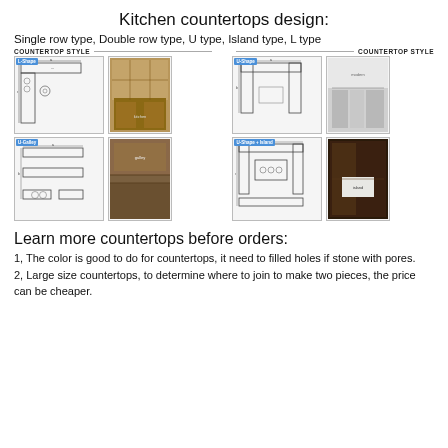Kitchen countertops design:
Single row type, Double row type, U type, Island type, L type
[Figure (engineering-diagram): Four kitchen countertop layout diagrams (L-Shape, U-Shape, Galley, U-Shape+Island) with technical floor plan drawings and corresponding kitchen photos, divided into left and right panels each labeled COUNTERTOP STYLE]
Learn more countertops before orders:
1, The color is good to do for countertops, it need to filled holes if stone with pores.
2, Large size countertops, to determine where to join to make two pieces, the price can be cheaper.